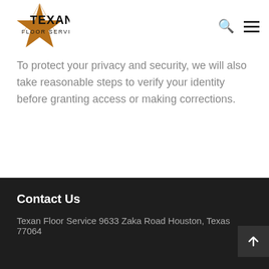Texan Floor Service
To protect your privacy and security, we will also take reasonable steps to verify your identity before granting access or making corrections.
Contact Us
Texan Floor Service 9633 Zaka Road Houston, Texas 77064